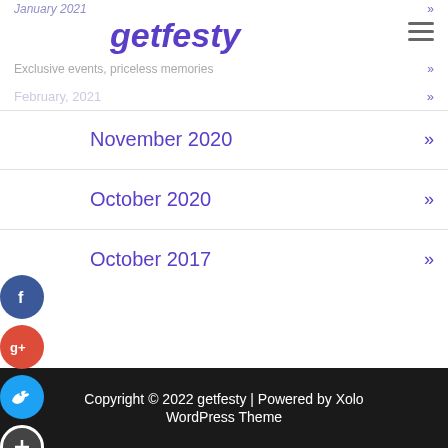getfesty — Exclusive events, priceless memories
November 2020 »
October 2020 »
October 2017 »
[Figure (illustration): Social media share buttons: Facebook (blue circle with f), Google+ (red circle with g+), Twitter (cyan circle with bird icon), Plus/share (dark circle with + icon)]
Copyright © 2022 getfesty | Powered by Xolo WordPress Theme